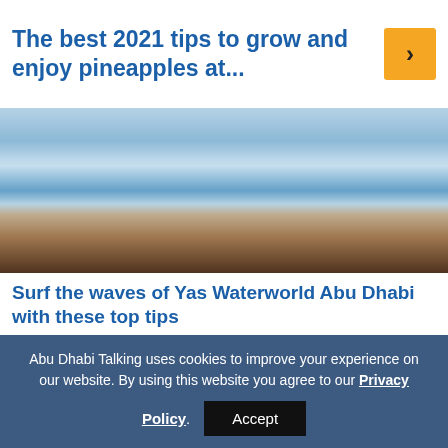The best 2021 tips to grow and enjoy pineapples at...
[Figure (photo): Person surfing on a wave at Yas Waterworld Abu Dhabi, showing legs and feet on a surfboard amid white water spray]
Surf the waves of Yas Waterworld Abu Dhabi with these top tips
4 months ago
[Figure (photo): UAE 10 dirham banknote showing Central Bank of the United Arab Emirates text with decorative elements, numbered badge 3 in top left]
Abu Dhabi Talking uses cookies to improve your experience on our website. By using this website you agree to our Privacy Policy.
Accept